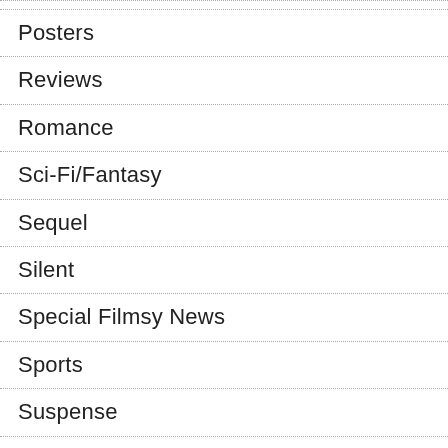Posters
Reviews
Romance
Sci-Fi/Fantasy
Sequel
Silent
Special Filmsy News
Sports
Suspense
Thriller
Tid Bits & News